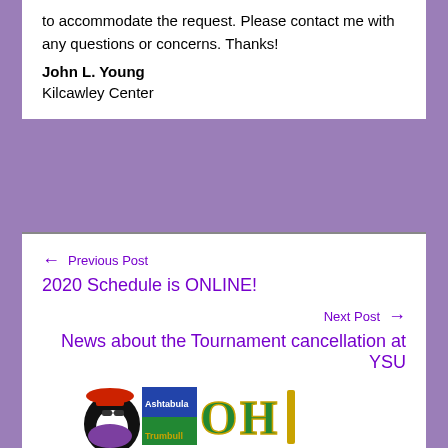to accommodate the request. Please contact me with any questions or concerns. Thanks!
John L. Young
Kilcawley Center
← Previous Post
2020 Schedule is ONLINE!
Next Post →
News about the Tournament cancellation at YSU
[Figure (logo): Ohio bowling organization logo with a penguin wearing a red hat and purple outfit, with regions labeled Ashtabula and Trumbull, and large green letters OH with a trophy/pin graphic]